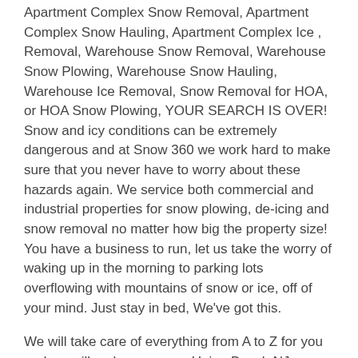Apartment Complex Snow Removal, Apartment Complex Snow Hauling, Apartment Complex Ice , Removal, Warehouse Snow Removal, Warehouse Snow Plowing, Warehouse Snow Hauling, Warehouse Ice Removal, Snow Removal for HOA, or HOA Snow Plowing, YOUR SEARCH IS OVER!
Snow and icy conditions can be extremely dangerous and at Snow 360 we work hard to make sure that you never have to worry about these hazards again. We service both commercial and industrial properties for snow plowing, de-icing and snow removal no matter how big the property size! You have a business to run, let us take the worry of waking up in the morning to parking lots overflowing with mountains of snow or ice, off of your mind. Just stay in bed, We've got this.
We will take care of everything from A to Z for you and we will make sure your Union Beach NJ commercial properties are safe for you, your tenants or your clients. When Snow